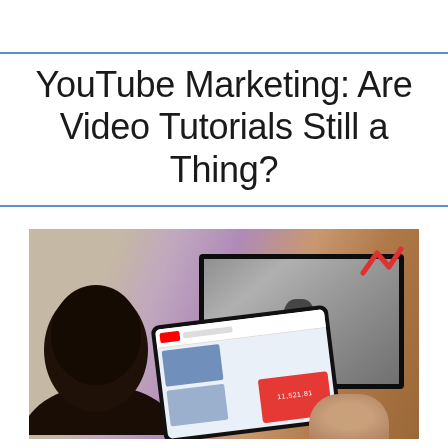YouTube Marketing: Are Video Tutorials Still a Thing?
[Figure (photo): Person viewed from behind looking at a tablet showing YouTube app and a monitor/TV screen in the background, with a pink-purple and tan wall, and a red zigzag logo in the upper right corner.]